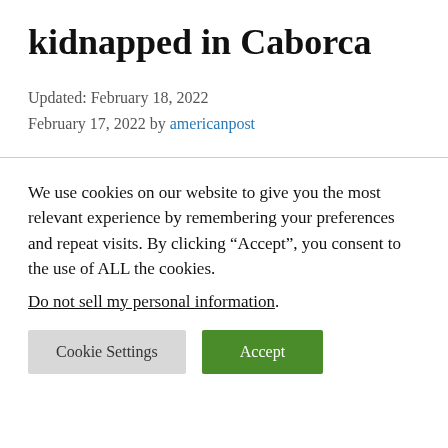kidnapped in Caborca
Updated: February 18, 2022
February 17, 2022 by americanpost
We use cookies on our website to give you the most relevant experience by remembering your preferences and repeat visits. By clicking “Accept”, you consent to the use of ALL the cookies.
Do not sell my personal information.